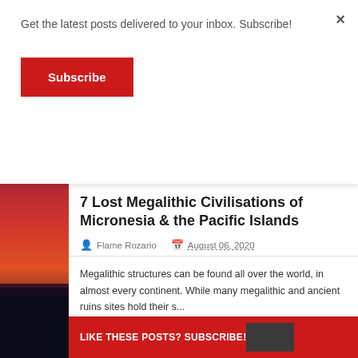[Figure (photo): Red/purple sunset sky over ocean, used as page background]
Get the latest posts delivered to your inbox. Subscribe!
Subscribe
×
7 Lost Megalithic Civilisations of Micronesia & the Pacific Islands
Flame Rozario   August 06, 2020
Megalithic structures can be found all over the world, in almost every continent. While many megalithic and ancient ruins sites hold their s...
READ MORE ▶
LIKE THESE POSTS? SUBSCRIBE!